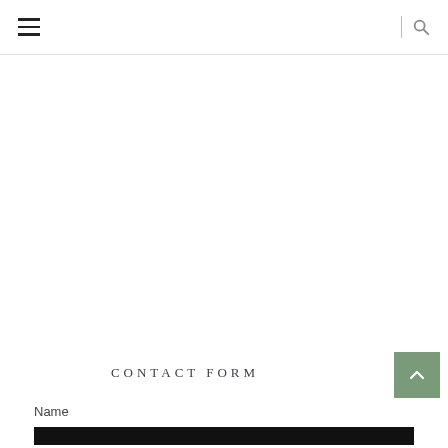Navigation bar with hamburger menu and search icon
CONTACT FORM
Name